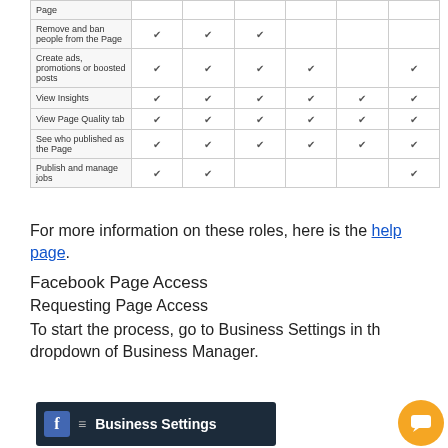|  | Col1 | Col2 | Col3 | Col4 | Col5 | Col6 |
| --- | --- | --- | --- | --- | --- | --- |
| Page |  |  |  |  |  |  |
| Remove and ban people from the Page | ✔ | ✔ | ✔ |  |  |  |
| Create ads, promotions or boosted posts | ✔ | ✔ | ✔ | ✔ |  | ✔ |
| View Insights | ✔ | ✔ | ✔ | ✔ | ✔ | ✔ |
| View Page Quality tab | ✔ | ✔ | ✔ | ✔ | ✔ | ✔ |
| See who published as the Page | ✔ | ✔ | ✔ | ✔ | ✔ | ✔ |
| Publish and manage jobs | ✔ | ✔ |  |  |  | ✔ |
For more information on these roles, here is the help page.
Facebook Page Access
Requesting Page Access
To start the process, go to Business Settings in the dropdown of Business Manager.
[Figure (screenshot): Screenshot of Facebook Business Settings navigation bar with the Facebook logo and 'Business Settings' text on dark background]